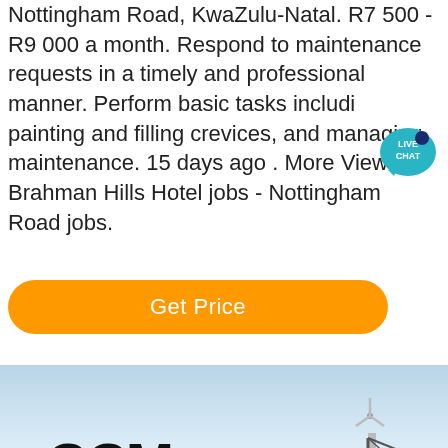Nottingham Road, KwaZulu-Natal. R7 500 - R9 000 a month. Respond to maintenance requests in a timely and professional manner. Perform basic tasks including painting and filling crevices, and managing maintenance. 15 days ago . More View all Brahman Hills Hotel jobs - Nottingham Road jobs.
[Figure (infographic): Orange 'Get Price' rounded button]
[Figure (logo): Live Chat bubble badge with teal background showing 'LIVE CHAT' text]
[Figure (photo): CCM logo with red star, wind turbines, white mound, mountain silhouette and steel frame structure in background under cloudy sky]